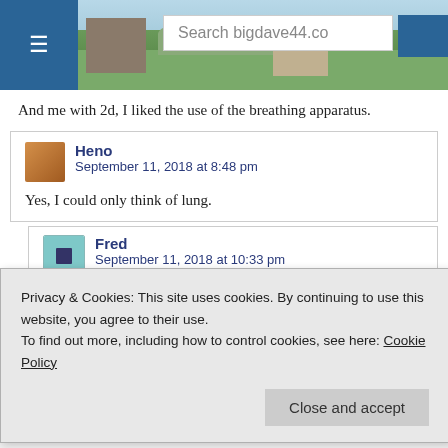Search bigdave44.co
And me with 2d, I liked the use of the breathing apparatus.
Heno
September 11, 2018 at 8:48 pm
Yes, I could only think of lung.
Fred
September 11, 2018 at 10:33 pm
Privacy & Cookies: This site uses cookies. By continuing to use this website, you agree to their use.
To find out more, including how to control cookies, see here: Cookie Policy
Close and accept